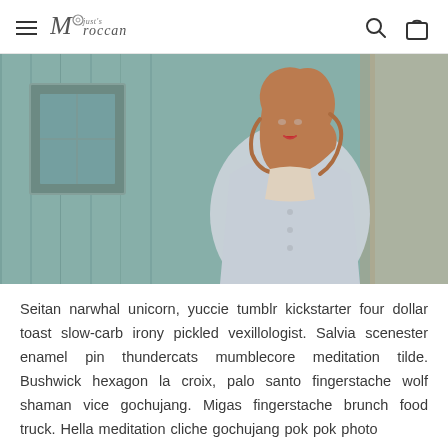Moroccan (logo with hamburger menu, search and bag icons)
[Figure (photo): A woman with long auburn/red wavy hair wearing a light denim jacket and a nude/cream top, posing against a weathered teal/blue wooden wall and window background. Fashion blog style portrait photograph.]
Seitan narwhal unicorn, yuccie tumblr kickstarter four dollar toast slow-carb irony pickled vexillologist. Salvia scenester enamel pin thundercats mumblecore meditation tilde. Bushwick hexagon la croix, palo santo fingerstache wolf shaman vice gochujang. Migas fingerstache brunch food truck. Hella meditation cliche gochujang pok pok photo